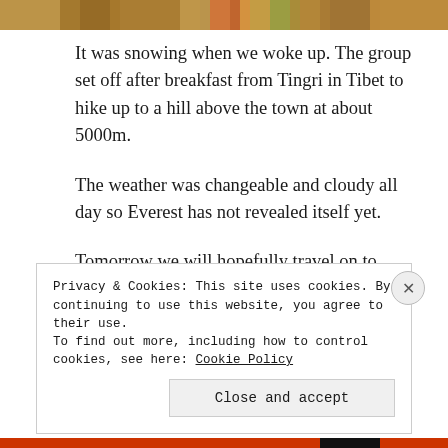[Figure (photo): Partial view of a colorful scene, likely prayer flags or market goods, cropped at the top of the page]
It was snowing when we woke up. The group set off after breakfast from Tingri in Tibet to hike up to a hill above the town at about 5000m.
The weather was changeable and cloudy all day so Everest has not revealed itself yet.
Tomorrow we will hopefully travel on to Basecamp if our bags and gear manage to get across the border and find us.
Privacy & Cookies: This site uses cookies. By continuing to use this website, you agree to their use.
To find out more, including how to control cookies, see here: Cookie Policy
Close and accept